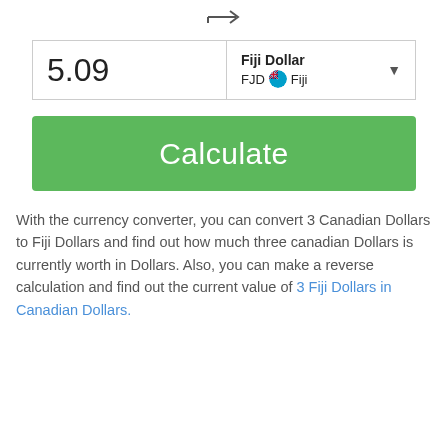[Figure (screenshot): Arrow icon pointing right (tab/indent symbol) centered at top of page]
5.09
Fiji Dollar FJD Fiji
Calculate
With the currency converter, you can convert 3 Canadian Dollars to Fiji Dollars and find out how much three canadian Dollars is currently worth in Dollars. Also, you can make a reverse calculation and find out the current value of 3 Fiji Dollars in Canadian Dollars.